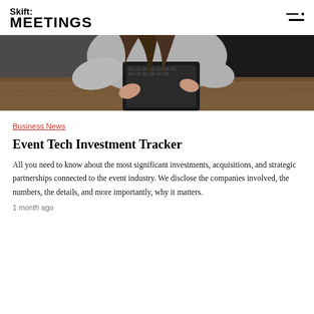Skift: MEETINGS
[Figure (photo): A person sitting at a wooden table holding a tablet/keyboard device, wearing a grey sweater, photographed from the torso down.]
Business News
Event Tech Investment Tracker
All you need to know about the most significant investments, acquisitions, and strategic partnerships connected to the event industry. We disclose the companies involved, the numbers, the details, and more importantly, why it matters.
1 month ago